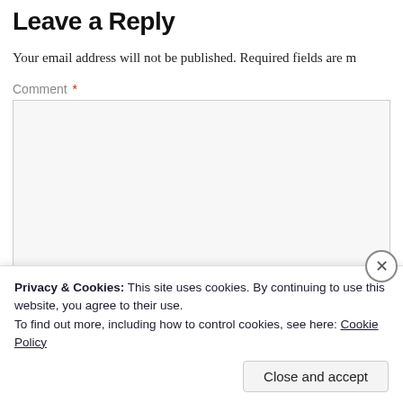Leave a Reply
Your email address will not be published. Required fields are m
Comment *
Name *
Privacy & Cookies: This site uses cookies. By continuing to use this website, you agree to their use.
To find out more, including how to control cookies, see here: Cookie Policy
Close and accept